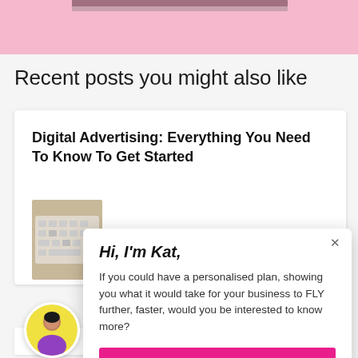[Figure (photo): Pink banner at top of page, partially showing a photo above]
Recent posts you might also like
Digital Advertising: Everything You Need To Know To Get Started
[Figure (photo): Photo of a keyboard/laptop thumbnail in the card]
[Figure (infographic): Popup overlay with Hi I'm Kat message and CTA button]
Hi, I'm Kat,
If you could have a personalised plan, showing you what it would take for your business to FLY further, faster, would you be interested to know more?
[Figure (photo): Avatar photo of Kat, circular, woman in colorful clothing]